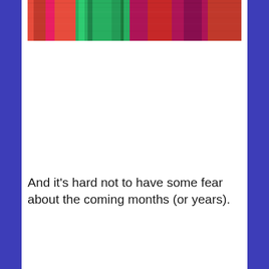[Figure (photo): Colorful textile or fiber art in red, green, and pink/magenta tones, cropped at top of page]
And it's hard not to have some fear about the coming months (or years).